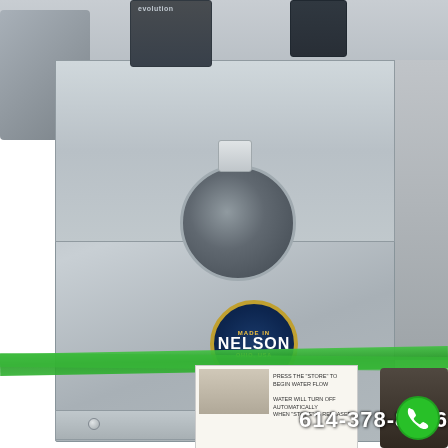[Figure (photo): A stainless steel portable handwashing sink unit on a truck bed or trailer, with a circular basin, two-handle faucet, paper towel dispensers mounted at top, a Nelson Made in Ohio USA logo badge on the front, green securing straps, a paper information label showing a faucet photo, and a phone number 614-378-8466 with green phone icon overlay at the bottom.]